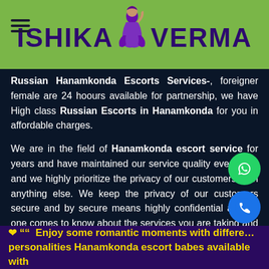ISHIKA VERMA
Russian Hanamkonda Escorts Services-, foreigner female are 24 hoours available for partnership, we have High class Russian Escorts in Hanamkonda for you in affordable charges.
We are in the field of Hanamkonda escort service for years and have maintained our service quality ever since and we highly prioritize the privacy of our customers than anything else. We keep the privacy of our customers secure and by secure means highly confidential and no one comes to know about the services you are taking and any further information.
❤ ““  Enjoy some romantic moments with different personalities Hanamkonda escort babes available with